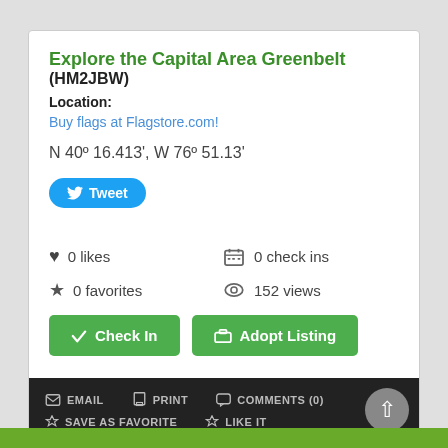Explore the Capital Area Greenbelt (HM2JBW)
Location:
Buy flags at Flagstore.com!
N 40º 16.413', W 76º 51.13'
[Figure (other): Tweet button with Twitter bird icon]
0 likes
0 check ins
0 favorites
152 views
[Figure (other): Check In green button]
[Figure (other): Adopt Listing green button]
EMAIL   PRINT   COMMENTS (0)   SAVE AS FAVORITE   LIKE IT